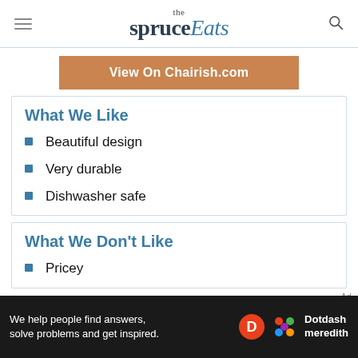the spruceEats
View On Chairish.com
What We Like
Beautiful design
Very durable
Dishwasher safe
What We Don't Like
Pricey
[Figure (screenshot): Dotdash Meredith advertisement banner: 'We help people find answers, solve problems and get inspired.']